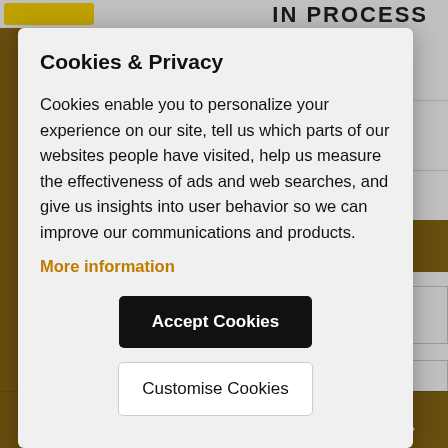Cookies & Privacy
Cookies enable you to personalize your experience on our site, tell us which parts of our websites people have visited, help us measure the effectiveness of ads and web searches, and give us insights into user behavior so we can improve our communications and products.
More information
Accept Cookies
Customise Cookies